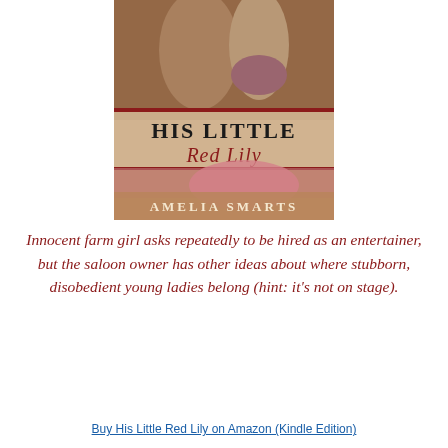[Figure (illustration): Book cover of 'His Little Red Lily' by Amelia Smarts, showing a man and woman in period dress, with the title in bold distressed lettering and author name at the bottom.]
Innocent farm girl asks repeatedly to be hired as an entertainer, but the saloon owner has other ideas about where stubborn, disobedient young ladies belong (hint: it's not on stage).
Buy His Little Red Lily on Amazon (Kindle Edition)